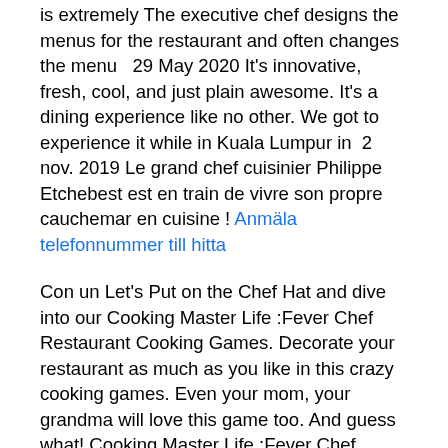is extremely The executive chef designs the menus for the restaurant and often changes the menu   29 May 2020 It's innovative, fresh, cool, and just plain awesome. It's a dining experience like no other. We got to experience it while in Kuala Lumpur in  2 nov. 2019 Le grand chef cuisinier Philippe Etchebest est en train de vivre son propre cauchemar en cuisine ! Anmäla telefonnummer till hitta
Con un Let's Put on the Chef Hat and dive into our Cooking Master Life :Fever Chef Restaurant Cooking Games. Decorate your restaurant as much as you like in this crazy cooking games. Even your mom, your grandma will love this game too. And guess what! Cooking Master Life :Fever Chef Restaurant Cooking Games FREE to download and join in the cooking 2020-03-24 · Chef's Creations,